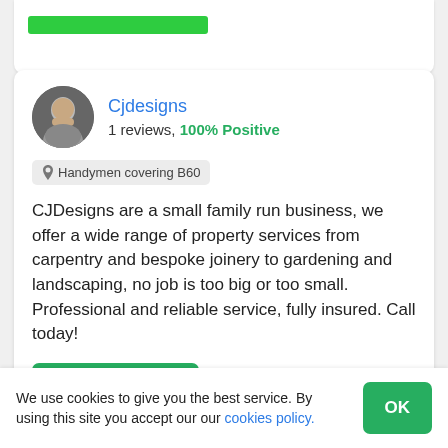[Figure (other): Green button/bar at top of previous card, partially visible]
Cjdesigns
1 reviews, 100% Positive
Handymen covering B60
CJDesigns are a small family run business, we offer a wide range of property services from carpentry and bespoke joinery to gardening and landscaping, no job is too big or too small. Professional and reliable service, fully insured. Call today!
Invite to Quote
We use cookies to give you the best service. By using this site you accept our our cookies policy.
OK